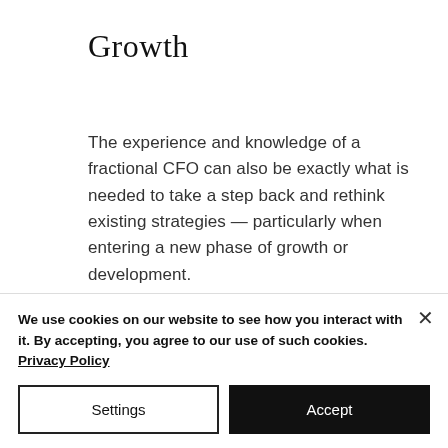Growth
The experience and knowledge of a fractional CFO can also be exactly what is needed to take a step back and rethink existing strategies — particularly when entering a new phase of growth or development.
We use cookies on our website to see how you interact with it. By accepting, you agree to our use of such cookies. Privacy Policy
Settings
Accept